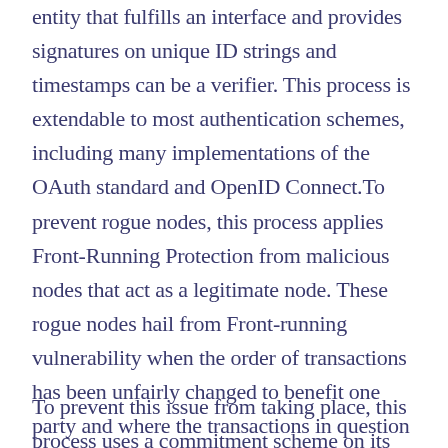entity that fulfills an interface and provides signatures on unique ID strings and timestamps can be a verifier. This process is extendable to most authentication schemes, including many implementations of the OAuth standard and OpenID Connect.To prevent rogue nodes, this process applies Front-Running Protection from malicious nodes that act as a legitimate node. These rogue nodes hail from Front-running vulnerability when the order of transactions has been unfairly changed to benefit one party and where the transactions in question may end up in the same block. These rogue nodes can steal, modify, or create wrong data.
To prevent this issue from taking place, this process uses a commitment scheme on its token to warrant